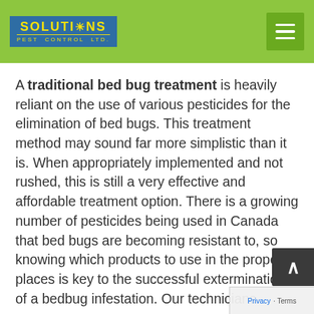[Figure (logo): Solutions Pest Control Ltd. logo — blue box with yellow text and sun icon, on green header bar]
A traditional bed bug treatment is heavily reliant on the use of various pesticides for the elimination of bed bugs. This treatment method may sound far more simplistic than it is. When appropriately implemented and not rushed, this is still a very effective and affordable treatment option. There is a growing number of pesticides being used in Canada that bed bugs are becoming resistant to, so knowing which products to use in the proper places is key to the successful extermination of a bedbug infestation. Our technicians